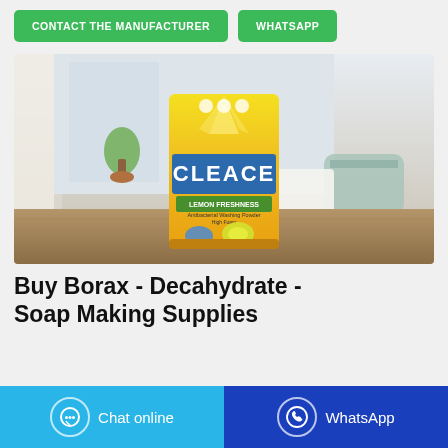[Figure (other): Two green buttons: 'CONTACT THE MANUFACTURER' and 'WHATSAPP']
[Figure (photo): Product photo of a yellow CLEACE Lemon Freshness washing powder bag on a wooden table with laundry room background]
Buy Borax - Decahydrate - Soap Making Supplies
[Figure (other): Two bottom action buttons: 'Chat online' (light blue) and 'WhatsApp' (dark blue)]